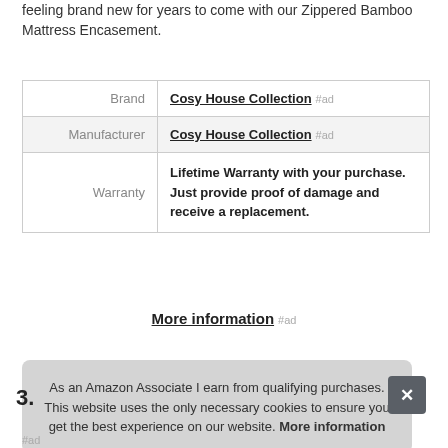feeling brand new for years to come with our Zippered Bamboo Mattress Encasement.
|  |  |
| --- | --- |
| Brand | Cosy House Collection #ad |
| Manufacturer | Cosy House Collection #ad |
| Warranty | Lifetime Warranty with your purchase. Just provide proof of damage and receive a replacement. |
More information #ad
As an Amazon Associate I earn from qualifying purchases. This website uses the only necessary cookies to ensure you get the best experience on our website. More information
#ad